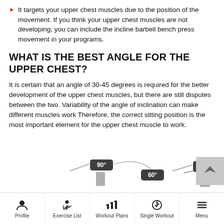It targets your upper chest muscles due to the position of the movement. If you think your upper chest muscles are not developing, you can include the incline barbell bench press movement in your programs.
WHAT IS THE BEST ANGLE FOR THE UPPER CHEST?
It is certain that an angle of 30-45 degrees is required for the better development of the upper chest muscles, but there are still disputes between the two. Variability of the angle of inclination can make different muscles work Therefore, the correct sitting position is the most important element for the upper chest muscle to work.
[Figure (infographic): Partial diagram showing angle indicators 90° and 60° for chest press inclination angles]
Profile | Exercise List | Workout Plans | Single Workout | Menu